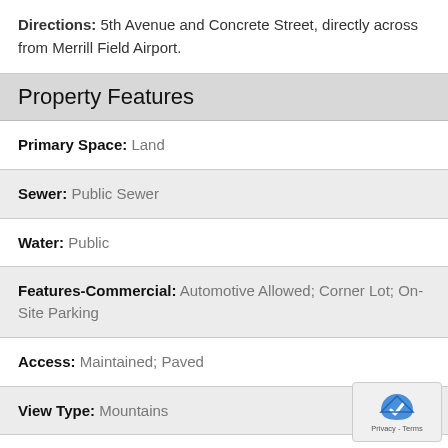Directions: 5th Avenue and Concrete Street, directly across from Merrill Field Airport.
Property Features
Primary Space: Land
Sewer: Public Sewer
Water: Public
Features-Commercial: Automotive Allowed; Corner Lot; On-Site Parking
Access: Maintained; Paved
View Type: Mountains
New Finance (Terms): Cash; Conventional